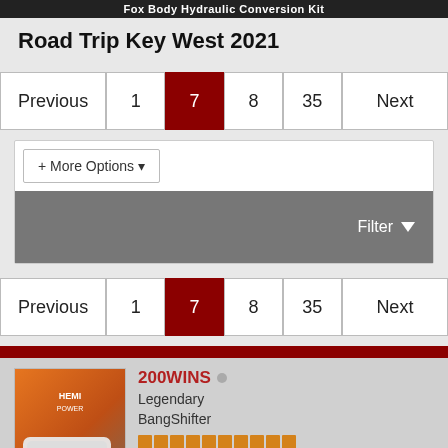Fox Body Hydraulic Conversion Kit
Road Trip Key West 2021
Pagination: Previous | 1 | 7 (active) | 8 | 35 | Next
+ More Options
Filter
Pagination: Previous | 1 | 7 (active) | 8 | 35 | Next
200WINS — Legendary BangShifter — Join Date: Oct 2008